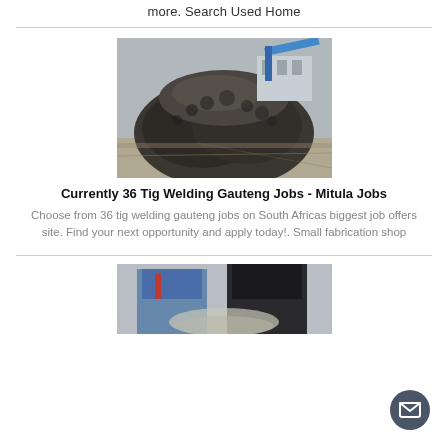more. Search Used Home
[Figure (photo): Large pile of dark metal rods/pipes stacked in a warehouse yard with industrial building and blue machinery in background]
Currently 36 Tig Welding Gauteng Jobs - Mitula Jobs
Choose from 36 tig welding gauteng jobs on South Africas biggest job offers site. Find your next opportunity and apply today!. Small fabrication shop
[Figure (photo): Person in blue jacket and dark clothing, partial view, appears to be a welding-related job listing image]